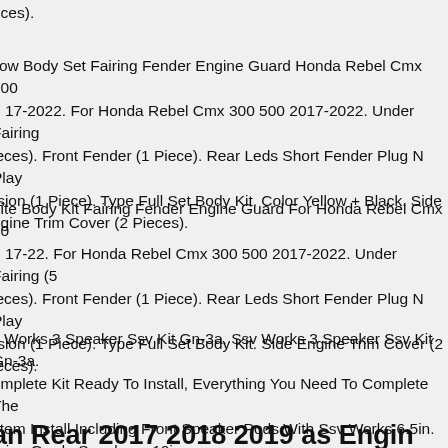eces).
llow Body Set Fairing Fender Engine Guard Honda Rebel Cmx 300 0 17-2022. For Honda Rebel Cmx 300 500 2017-2022. Under Fairing ieces). Front Fender (1 Piece). Rear Leds Short Fender Plug N Play rsion (1 Piece). Type Full Set Body Kit. Color Yellow + Black. Side ngine Trim Cover (2 Pieces).
hite Body Kit Fairing Fender Engine Guard For Honda Rebel Cmx 30 0 17-22. For Honda Rebel Cmx 300 500 2017-2022. Under Fairing (5 ieces). Front Fender (1 Piece). Rear Leds Short Fender Plug N Play rsion (1 Piece). Type Full Set Body Kit. Side Engine Trim Cover (2 ieces).
v Works 3 Speaker Ssv Kit Gn-3a. Ssv Works 3 Speaker Ssv Kit Gn-3a. omplete Kit Ready To Install, Everything You Need To Complete The stem Install Including Front Speaker Pods With Ssv Works 6.5in. arine Grade Speakers, 10in.
an Rear 2017 2018 2019 as Engin...